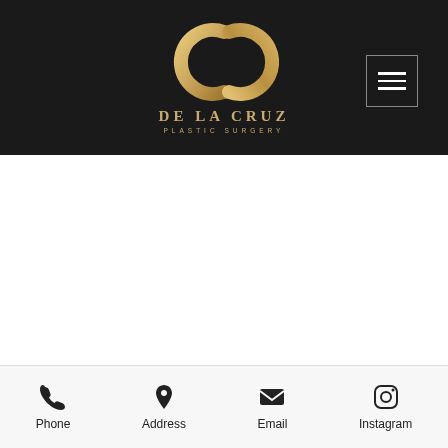[Figure (logo): De La Cruz Plastic Surgery logo with interlocking golden C letters on dark background, brand name below]
upper eyelid surgery
[Figure (infographic): Footer navigation bar with Phone, Address, Email, and Instagram icons]